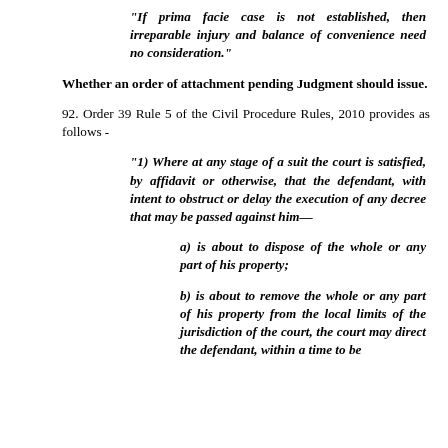“If prima facie case is not established, then irreparable injury and balance of convenience need no consideration.”
Whether an order of attachment pending Judgment should issue.
92. Order 39 Rule 5 of the Civil Procedure Rules, 2010 provides as follows -
“1) Where at any stage of a suit the court is satisfied, by affidavit or otherwise, that the defendant, with intent to obstruct or delay the execution of any decree that may be passed against him—
a)  is about to dispose of the whole or any part of his property;
b)  is about to remove the whole or any part of his property from the local limits of the jurisdiction of the court, the court may direct the defendant, within a time to be